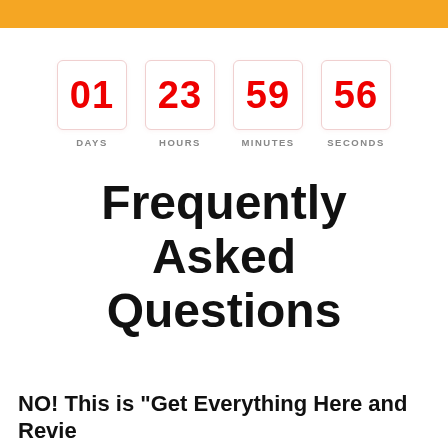[Figure (infographic): Countdown timer showing 01 DAYS, 23 HOURS, 59 MINUTES, 56 SECONDS in red digits on white rounded boxes]
Frequently Asked Questions
NO! This is "Get Everything Here and Review